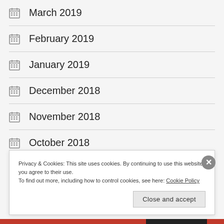March 2019
February 2019
January 2019
December 2018
November 2018
October 2018
Privacy & Cookies: This site uses cookies. By continuing to use this website, you agree to their use.
To find out more, including how to control cookies, see here: Cookie Policy